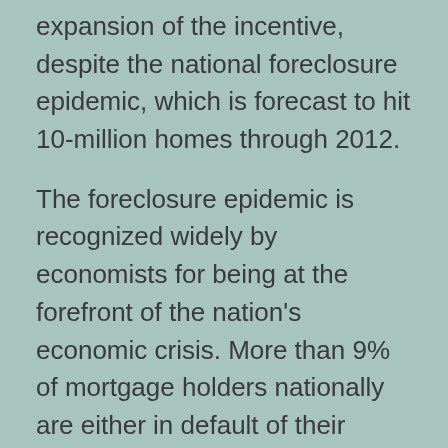expansion of the incentive, despite the national foreclosure epidemic, which is forecast to hit 10-million homes through 2012.
The foreclosure epidemic is recognized widely by economists for being at the forefront of the nation's economic crisis. More than 9% of mortgage holders nationally are either in default of their loans or in the process of foreclosure. Nearly 1 out of 4 homeowners owe more on their homes than what they could get if they were sold in the current economic environment.